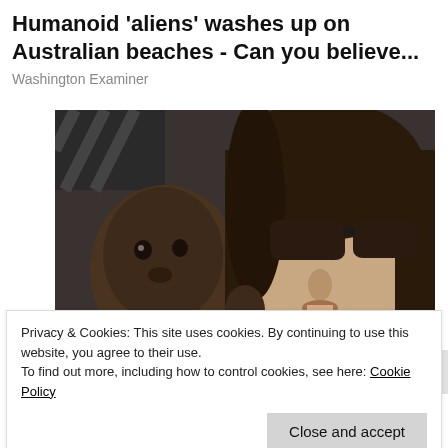Humanoid 'aliens' washes up on Australian beaches - Can you believe...
Washington Examiner
[Figure (photo): Close-up photograph of a young Black child in the foreground on the left, and a woman with long dark hair wearing dark sunglasses on the right. The woman is holding the child.]
Privacy & Cookies: This site uses cookies. By continuing to use this website, you agree to their use.
To find out more, including how to control cookies, see here: Cookie Policy
Close and accept